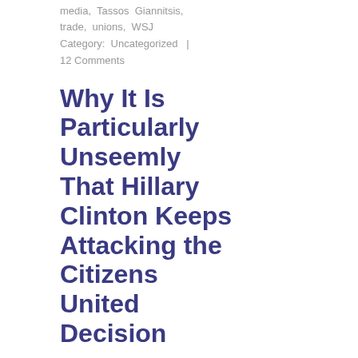media, Tassos Giannitsis, trade, unions, WSJ
Category: Uncategorized | 12 Comments
Why It Is Particularly Unseemly That Hillary Clinton Keeps Attacking the Citizens United Decision
May 15, 2015, 10:50 am
I think any opposition to free speech, particularly